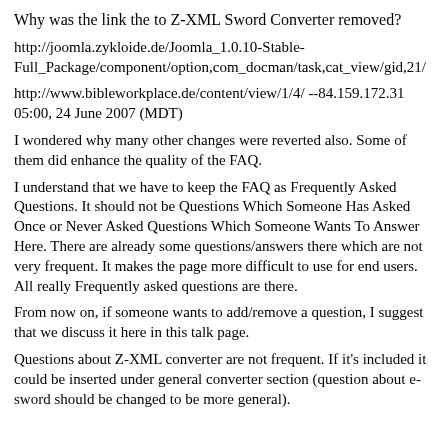Why was the link the to Z-XML Sword Converter removed?
http://joomla.zykloide.de/Joomla_1.0.10-Stable-Full_Package/component/option,com_docman/task,cat_view/gid,21/
http://www.bibleworkplace.de/content/view/1/4/ --84.159.172.31 05:00, 24 June 2007 (MDT)
I wondered why many other changes were reverted also. Some of them did enhance the quality of the FAQ.
I understand that we have to keep the FAQ as Frequently Asked Questions. It should not be Questions Which Someone Has Asked Once or Never Asked Questions Which Someone Wants To Answer Here. There are already some questions/answers there which are not very frequent. It makes the page more difficult to use for end users. All really Frequently asked questions are there.
From now on, if someone wants to add/remove a question, I suggest that we discuss it here in this talk page.
Questions about Z-XML converter are not frequent. If it's included it could be inserted under general converter section (question about e-sword should be changed to be more general).